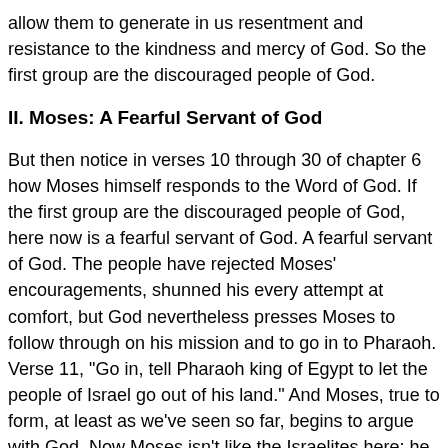allow them to generate in us resentment and resistance to the kindness and mercy of God. So the first group are the discouraged people of God.
II. Moses: A Fearful Servant of God
But then notice in verses 10 through 30 of chapter 6 how Moses himself responds to the Word of God. If the first group are the discouraged people of God, here now is a fearful servant of God. A fearful servant of God. The people have rejected Moses' encouragements, shunned his every attempt at comfort, but God nevertheless presses Moses to follow through on his mission and to go in to Pharaoh. Verse 11, "Go in, tell Pharaoh king of Egypt to let the people of Israel go out of his land." And Moses, true to form, at least as we've seen so far, begins to argue with God. Now Moses isn't like the Israelites here; he isn't wallowing in his misery, he isn't denying